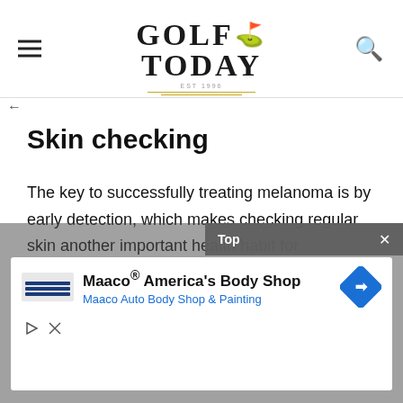GOLF TODAY
Skin checking
The key to successfully treating melanoma is by early detection, which makes checking regular skin another important health habit for everyone.  However very few of us do this monthly, even though this is strongly recommended by dermatologists.  The key is under... ...ook out fo...
[Figure (other): Maaco America's Body Shop advertisement overlay with Top label and close button]